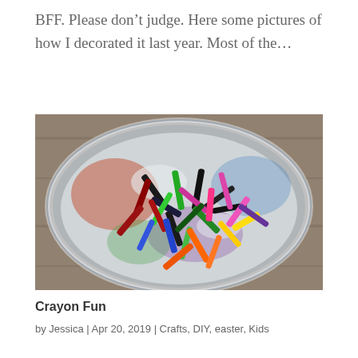BFF. Please don't judge. Here some pictures of how I decorated it last year. Most of the…
[Figure (photo): A metal bowl filled with many broken crayon pieces of various colors including black, green, red, pink, orange, blue, yellow, and purple, viewed from above on a wooden surface.]
Crayon Fun
by Jessica | Apr 20, 2019 | Crafts, DIY, easter, Kids